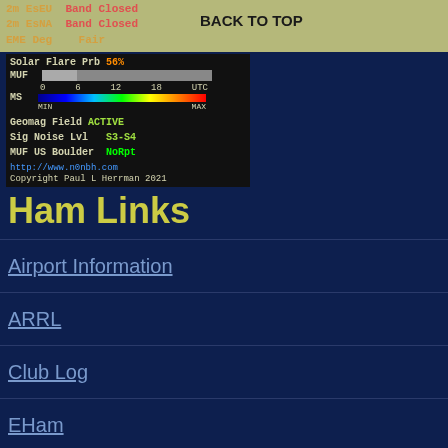2m EsEU Band Closed
2m EsNA Band Closed
EME Deg   Fair
BACK TO TOP
[Figure (screenshot): Ham radio propagation widget showing Solar Flare Prb 56%, MUF bar, MS scale (0-18 UTC), Geomag Field ACTIVE, Sig Noise Lvl S3-S4, MUF US Boulder NoRpt, http://www.n0nbh.com, Copyright Paul L Herrman 2021]
Ham Links
Airport Information
ARRL
Club Log
EHam
FCC Part 97